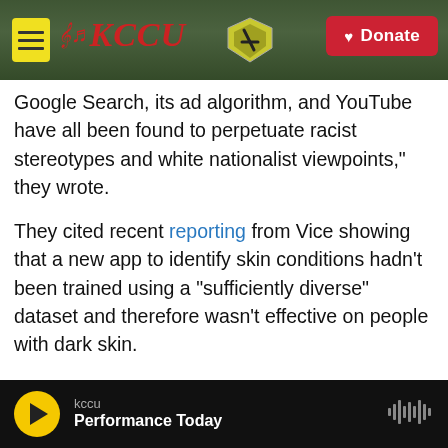KCCU — Donate
Google Search, its ad algorithm, and YouTube have all been found to perpetuate racist stereotypes and white nationalist viewpoints," they wrote.
They cited recent reporting from Vice showing that a new app to identify skin conditions hadn't been trained using a "sufficiently diverse" dataset and therefore wasn't effective on people with dark skin.
They also pointed to the controversial firing of prominent artificial intelligence ethicist Timnit Gebru, who was the first Black woman to be a research scientist at Google as well as a vocal critic of the company's diversity efforts.
kccu — Performance Today